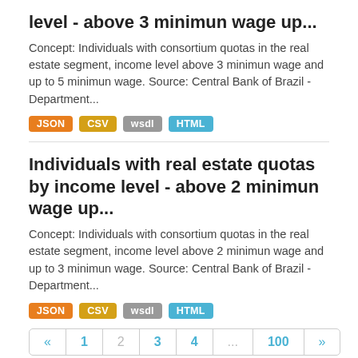level - above 3 minimun wage up...
Concept: Individuals with consortium quotas in the real estate segment, income level above 3 minimun wage and up to 5 minimun wage. Source: Central Bank of Brazil - Department...
JSON  CSV  wsdl  HTML
Individuals with real estate quotas by income level - above 2 minimun wage up...
Concept: Individuals with consortium quotas in the real estate segment, income level above 2 minimun wage and up to 3 minimun wage. Source: Central Bank of Brazil - Department...
JSON  CSV  wsdl  HTML
« 1 2 3 4 ... 100 »